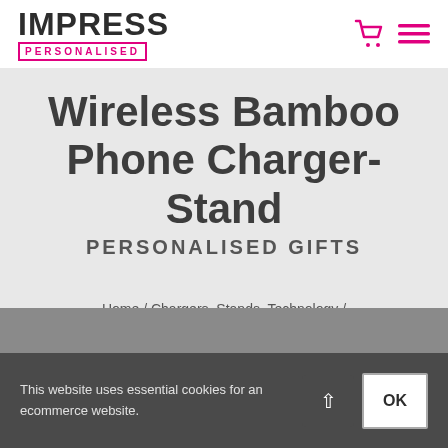[Figure (logo): IMPRESS PERSONALISED logo in dark grey bold text with pink border around PERSONALISED text]
Wireless Bamboo Phone Charger-Stand
PERSONALISED GIFTS
Home / Chargers, Stands, Technology / Wireless Bamboo Phone Charger-Stand
[Figure (other): Dark gray horizontal bar at bottom indicating start of product image area]
This website uses essential cookies for an ecommerce website.